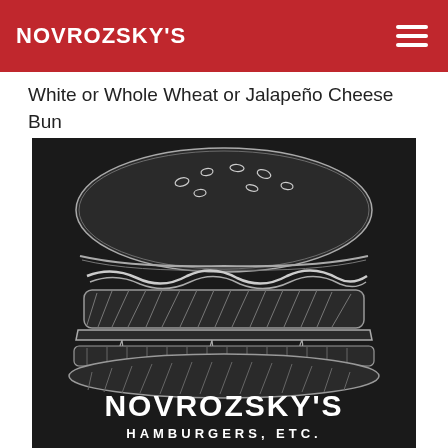NOVROZSKY'S
White or Whole Wheat or Jalapeño Cheese Bun
[Figure (illustration): Chalk-art style drawing of a layered hamburger on dark background with 'NOVROZSKY'S HAMBURGERS ETC.' text below, white illustration on black/dark grey background]